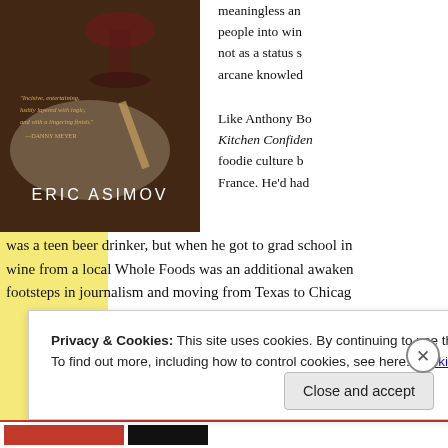[Figure (illustration): Book cover of Eric Asimov wine book showing wine glass and cheese knives on table, with quote from Danny Meyer]
meaningless and people into wine not as a status arcane knowledge
Like Anthony Bourdain's Kitchen Confidential foodie culture b France. He'd had
was a teen beer drinker, but when he got to grad school in wine from a local Whole Foods was an additional awakening footsteps in journalism and moving from Texas to Chicago
Privacy & Cookies: This site uses cookies. By continuing to use this website, you agree to their use.
To find out more, including how to control cookies, see here: Cookie Policy
Close and accept